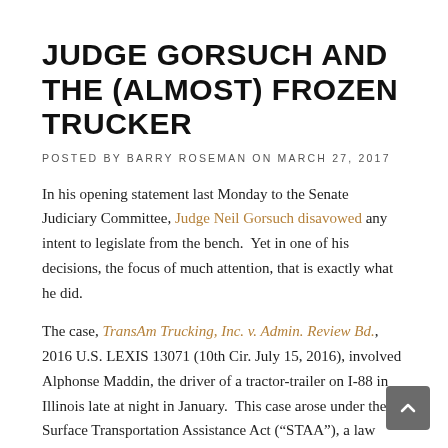JUDGE GORSUCH AND THE (ALMOST) FROZEN TRUCKER
POSTED BY BARRY ROSEMAN ON MARCH 27, 2017
In his opening statement last Monday to the Senate Judiciary Committee, Judge Neil Gorsuch disavowed any intent to legislate from the bench.  Yet in one of his decisions, the focus of much attention, that is exactly what he did.
The case, TransAm Trucking, Inc. v. Admin. Review Bd., 2016 U.S. LEXIS 13071 (10th Cir. July 15, 2016), involved Alphonse Maddin, the driver of a tractor-trailer on I-88 in Illinois late at night in January.  This case arose under the Surface Transportation Assistance Act (“STAA”), a law passed by Congress in 1994.  The STAA is intended to protect